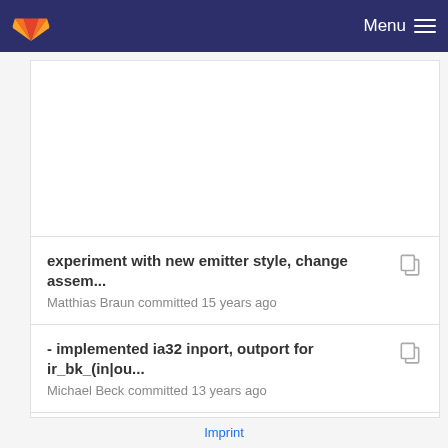Menu
experiment with new emitter style, change assem...
Matthias Braun committed 15 years ago
- implemented ia32 inport, outport for ir_bk_(in|ou...
Michael Beck committed 13 years ago
Imprint